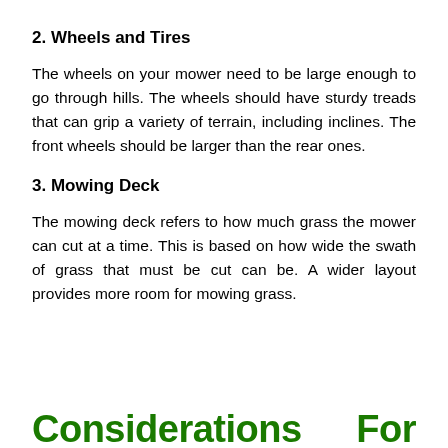2. Wheels and Tires
The wheels on your mower need to be large enough to go through hills. The wheels should have sturdy treads that can grip a variety of terrain, including inclines. The front wheels should be larger than the rear ones.
3. Mowing Deck
The mowing deck refers to how much grass the mower can cut at a time. This is based on how wide the swath of grass that must be cut can be. A wider layout provides more room for mowing grass.
Considerations                                                     For